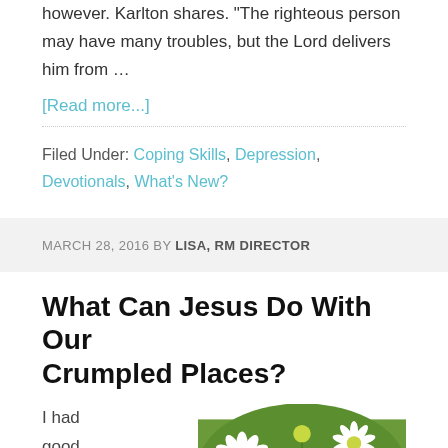however. Karlton shares. "The righteous person may have many troubles, but the Lord delivers him from …
[Read more...]
Filed Under: Coping Skills, Depression, Devotionals, What's New?
MARCH 28, 2016 BY LISA, RM DIRECTOR
What Can Jesus Do With Our Crumpled Places?
I had good
[Figure (photo): Close-up photo of colorful wildflowers including red poppies, white daisies, and yellow-green buds against a green background.]